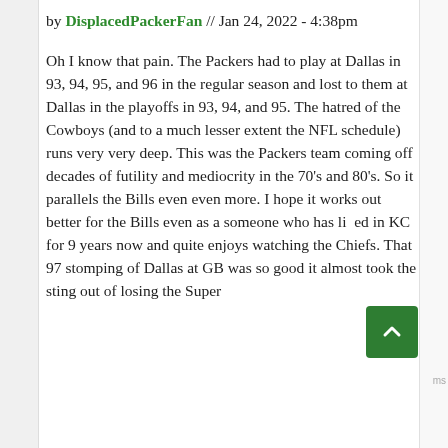by DisplacedPackerFan // Jan 24, 2022 - 4:38pm
Oh I know that pain. The Packers had to play at Dallas in 93, 94, 95, and 96 in the regular season and lost to them at Dallas in the playoffs in 93, 94, and 95. The hatred of the Cowboys (and to a much lesser extent the NFL schedule) runs very very deep. This was the Packers team coming off decades of futility and mediocrity in the 70's and 80's. So it parallels the Bills even even more. I hope it works out better for the Bills even as a someone who has lived in KC for 9 years now and quite enjoys watching the Chiefs. That 97 stomping of Dallas at GB was so good it almost took the sting out of losing the Super